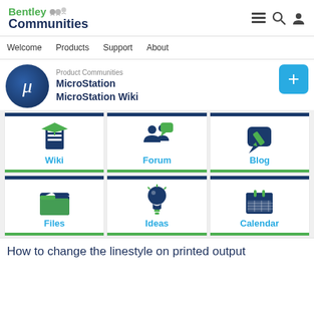Bentley Communities
Welcome   Products   Support   About
[Figure (logo): MicroStation mu logo circle]
Product Communities
MicroStation
MicroStation Wiki
[Figure (infographic): Six icon cards: Wiki, Forum, Blog, Files, Ideas, Calendar]
How to change the linestyle on printed output